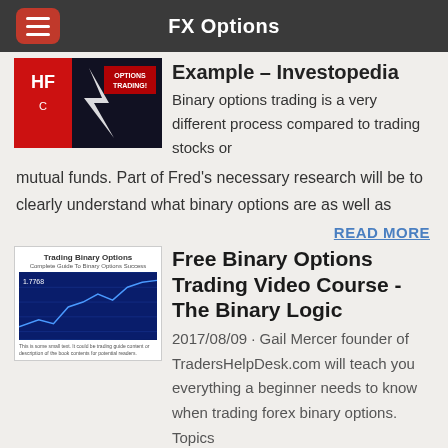FX Options
Example - Investopedia
Binary options trading is a very different process compared to trading stocks or mutual funds. Part of Fred's necessary research will be to clearly understand what binary options are as well as
READ MORE
Free Binary Options Trading Video Course - The Binary Logic
2017/08/09 · Gail Mercer founder of TradersHelpDesk.com will teach you everything a beginner needs to know when trading forex binary options. Topics covered: • ...